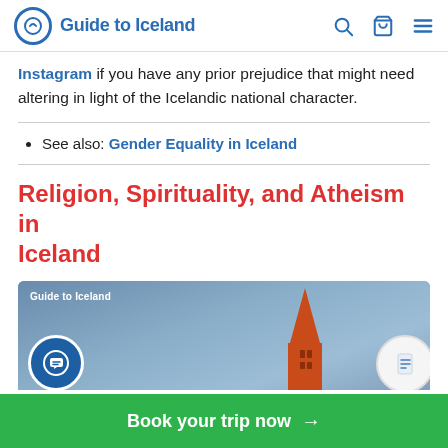Guide to Iceland
Instagram if you have any prior prejudice that might need altering in light of the Icelandic national character.
See also: Gender Equality in Iceland
Religion, Spirituality, and Atheism in Iceland
[Figure (photo): Photo of a church tower (Hallgrimskirkja) with an orange/red spire against a cloudy blue-grey sky, with a 'Guide to Iceland' watermark.]
Book your trip now →